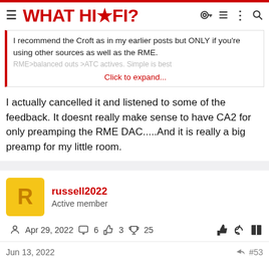WHAT HI*FI?
I recommend the Croft as in my earlier posts but ONLY if you're using other sources as well as the RME.
RME>balanced outs >ATC actives. Simple is best
Click to expand...
I actually cancelled it and listened to some of the feedback. It doesnt really make sense to have CA2 for only preamping the RME DAC.....And it is really a big preamp for my little room.
russell2022
Active member
Apr 29, 2022  6  3  25
Jun 13, 2022  #53